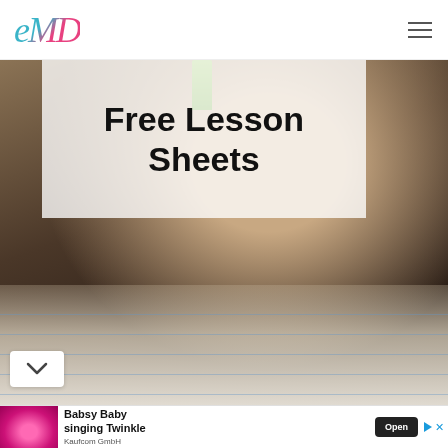eMD logo and navigation menu
[Figure (photo): Child's hand holding a pencil and writing on lined worksheet paper, close-up with dark background]
Free Lesson Sheets
[Figure (other): Advertisement banner: Babsy Baby singing Twinkle by Kaufcom GmbH, with animated baby character on pink background and Open button]